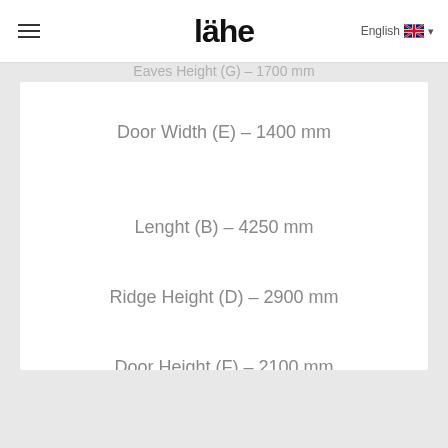lähe
Eaves Height (G) – 1700 mm
Door Width (E) – 1400 mm
Lenght (B) – 4250 mm
Ridge Height (D) – 2900 mm
Door Height (F) – 2100 mm